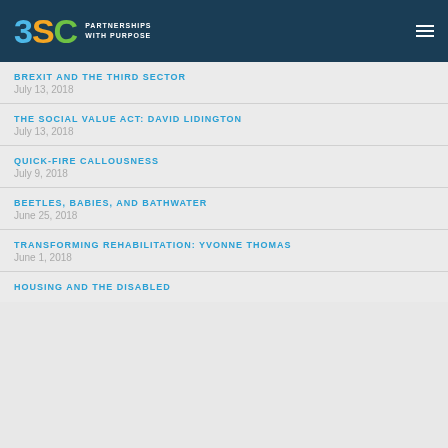3SC PARTNERSHIPS WITH PURPOSE
BREXIT AND THE THIRD SECTOR
July 13, 2018
THE SOCIAL VALUE ACT: DAVID LIDINGTON
July 13, 2018
QUICK-FIRE CALLOUSNESS
July 9, 2018
BEETLES, BABIES, AND BATHWATER
June 25, 2018
TRANSFORMING REHABILITATION: YVONNE THOMAS
June 1, 2018
HOUSING AND THE DISABLED